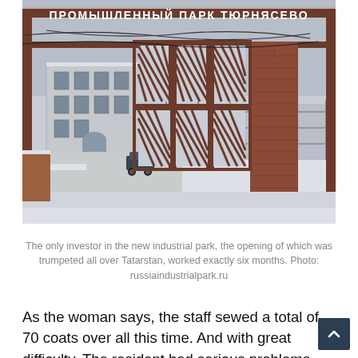[Figure (photo): Exterior photo of Tyurnyasevo Industrial Park (Промышленный парк Тюрнясево) gate sign in Russian, showing a snowy industrial facility with brick and metal structures, a factory building in the background, and a car on a snow-covered road. The large metal gate frame bears the park's name in white Cyrillic letters.]
The only investor in the new industrial park, the opening of which was trumpeted all over Tatarstan, worked exactly six months. Photo: russiaindustrialpark.ru
As the woman says, the staff sewed a total of 70 coats over all this time. And with great difficulty. The resident had serious problems with raw materials, they had to wait for fabric for weeks. But on paper everything was running smoothly. According to reports submitted by the district to the ministry of economy, in 2017 the residents of the industrial site shipped products at more than 12 million